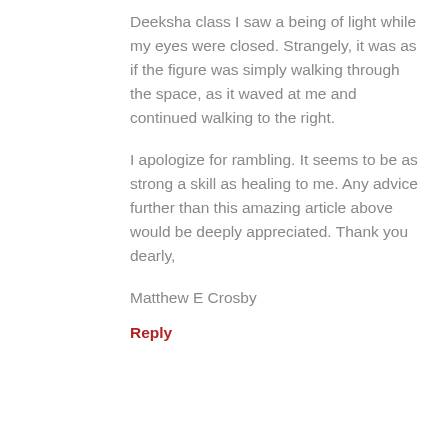Deeksha class I saw a being of light while my eyes were closed. Strangely, it was as if the figure was simply walking through the space, as it waved at me and continued walking to the right.
I apologize for rambling. It seems to be as strong a skill as healing to me. Any advice further than this amazing article above would be deeply appreciated. Thank you dearly,
Matthew E Crosby
Reply